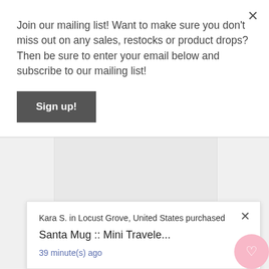Join our mailing list! Want to make sure you don't miss out on any sales, restocks or product drops? Then be sure to enter your email below and subscribe to our mailing list!
Sign up!
[Figure (photo): Light gray product display area / background image of a product page]
Kara S. in Locust Grove, United States purchased
Santa Mug :: Mini Travele...
39 minute(s) ago